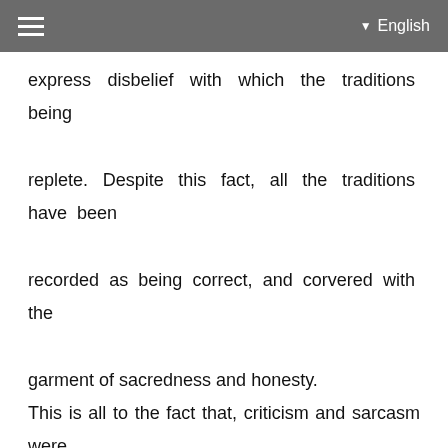English
express disbelief with which the traditions being replete. Despite this fact, all the traditions have been recorded as being correct, and corvered with the garment of sacredness and honesty. This is all to the fact that, criticism and sarcasm were prohibited, entailing death and perdition. Even that who inquires about the meanings to attain truth, is subject to slaying, if his intention is known to be investigating, for making him an example for others, to